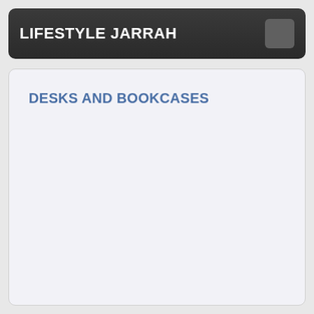LIFESTYLE JARRAH
DESKS AND BOOKCASES